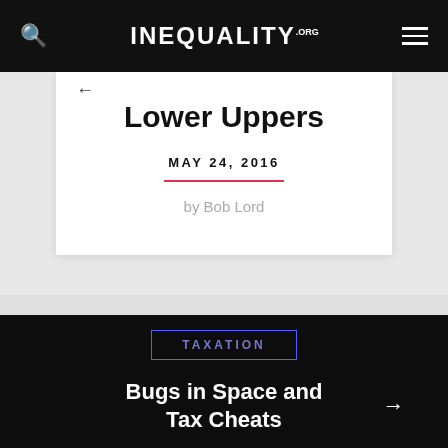INEQUALITY.ORG
Lower Uppers
MAY 24, 2016
by Bob Lord
TAXATION
Bugs in Space and Tax Cheats